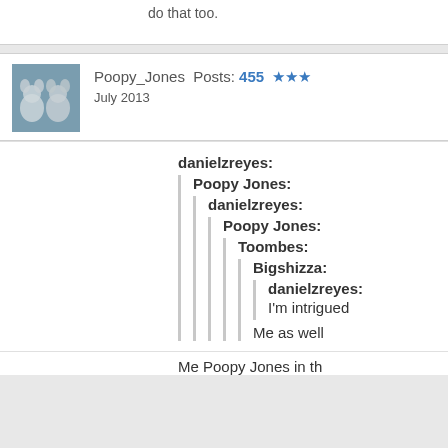do that too.
Poopy_Jones Posts: 455 ★★★ July 2013
danielzreyes:
  Poopy Jones:
    danielzreyes:
      Poopy Jones:
        Toombes:
          Bigshizza:
            danielzreyes:
            I'm intrigued
          Me as well
Me Poopy Jones in the